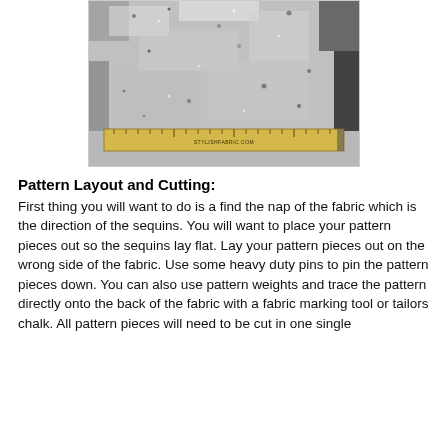[Figure (photo): Close-up photo of silver/black sequin fabric with a wooden ruler showing 'STYLISHFABRIC.COM' placed horizontally across the bottom portion of the fabric.]
Pattern Layout and Cutting:
First thing you will want to do is a find the nap of the fabric which is the direction of the sequins. You will want to place your pattern pieces out so the sequins lay flat. Lay your pattern pieces out on the wrong side of the fabric. Use some heavy duty pins to pin the pattern pieces down. You can also use pattern weights and trace the pattern directly onto the back of the fabric with a fabric marking tool or tailors chalk. All pattern pieces will need to be cut in one single